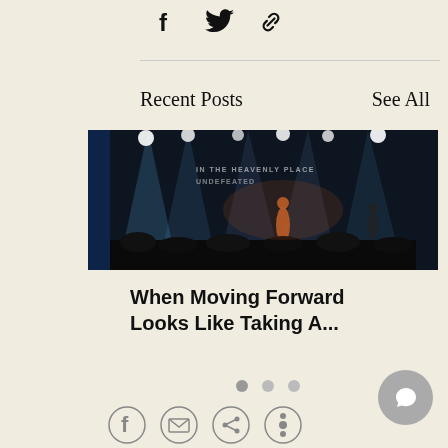[Figure (other): Share icons: Facebook, Twitter, Link]
Recent Posts
See All
[Figure (photo): Concert scene with singer on stage, lights, crowd, text on backdrop reading IN THE HEAVENLY PLACE UNDEFEATED]
When Moving Forward Looks Like Taking A...
[Figure (other): Carousel dots: three circles, first active]
[Figure (other): Chat button circle bottom right]
[Figure (other): Social media icons row at bottom: Facebook, mail, share, another]